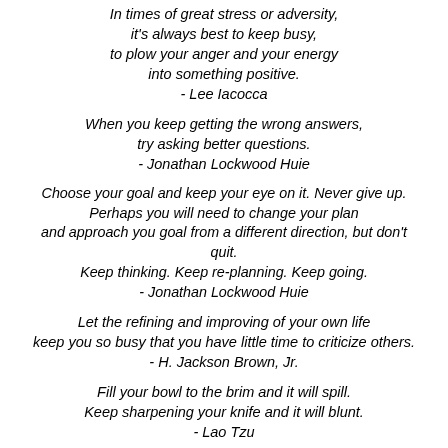In times of great stress or adversity, it's always best to keep busy, to plow your anger and your energy into something positive. - Lee Iacocca
When you keep getting the wrong answers, try asking better questions. - Jonathan Lockwood Huie
Choose your goal and keep your eye on it. Never give up. Perhaps you will need to change your plan and approach you goal from a different direction, but don't quit. Keep thinking. Keep re-planning. Keep going. - Jonathan Lockwood Huie
Let the refining and improving of your own life keep you so busy that you have little time to criticize others. - H. Jackson Brown, Jr.
Fill your bowl to the brim and it will spill. Keep sharpening your knife and it will blunt. - Lao Tzu
Listen or your tongue will keep you deaf.